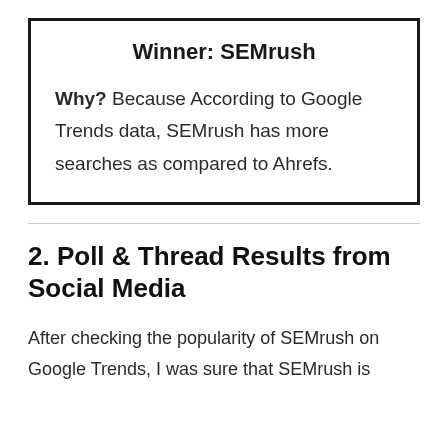Winner: SEMrush

Why? Because According to Google Trends data, SEMrush has more searches as compared to Ahrefs.
2. Poll & Thread Results from Social Media
After checking the popularity of SEMrush on Google Trends, I was sure that SEMrush is